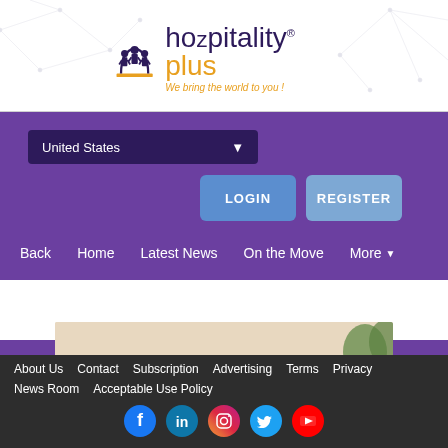[Figure (logo): Hozpitality Plus logo with stylized people icon and tagline 'We bring the world to you!']
United States ▾
LOGIN
REGISTER
Back   Home   Latest News   On the Move   More ▾
[Figure (photo): Partial view of two people, cropped article thumbnail image]
About Us  Contact  Subscription  Advertising  Terms  Privacy  News Room  Acceptable Use Policy
[Figure (infographic): Social media icons: Facebook, LinkedIn, Instagram, Twitter, YouTube]